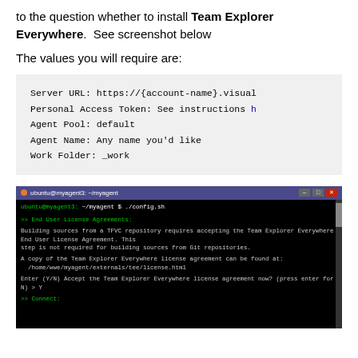to the question whether to install Team Explorer Everywhere.  See screenshot below
The values you will require are:
Server URL: https://{account-name}.visual
Personal Access Token: See instructions h
Agent Pool: default
Agent Name: Any name you'd like
Work Folder: _work
[Figure (screenshot): Terminal screenshot showing config.sh execution with End User License Agreement prompt for Team Explorer Everywhere, user entering Y to accept, then Connect: prompt appearing.]